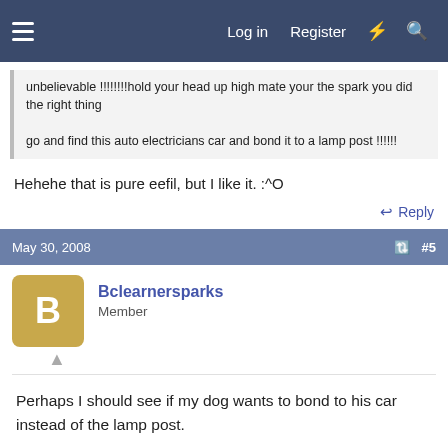Log in   Register
unbelievable !!!!!!!!hold your head up high mate your the spark you did the right thing

go and find this auto electricians car and bond it to a lamp post !!!!!!
Hehehe that is pure eefil, but I like it. :^O
Reply
May 30, 2008   #5
Bclearnersparks
Member
Perhaps I should see if my dog wants to bond to his car instead of the lamp post.

Cheers guys for the replies, you,ve made me feel a lot better